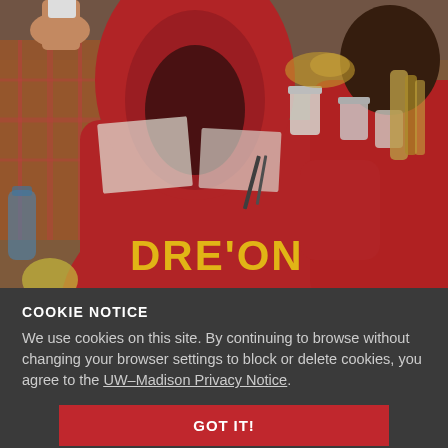[Figure (photo): Overhead view of students in red hoodies sitting at a table covered with papers, containers, and lab materials. One hoodie reads DRE'ON in yellow text.]
COOKIE NOTICE
We use cookies on this site. By continuing to browse without changing your browser settings to block or delete cookies, you agree to the UW–Madison Privacy Notice.
GOT IT!